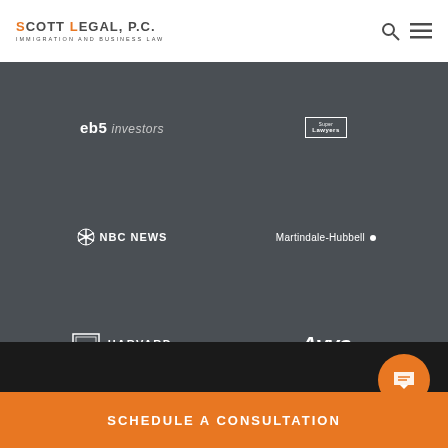SCOTT LEGAL, P.C. IMMIGRATION AND BUSINESS LAW
[Figure (logo): eb5 investors logo in white italic text on dark background]
[Figure (logo): Super Lawyers logo in white box on dark background]
[Figure (logo): NBC News logo with peacock icon in white on dark background]
[Figure (logo): Martindale-Hubbell logo in white text with dot on dark background]
[Figure (logo): Harvard University shield logo with text in white on dark background]
[Figure (logo): Avvo Legal. Easier. logo in white italic text on dark background]
SCHEDULE A CONSULTATION